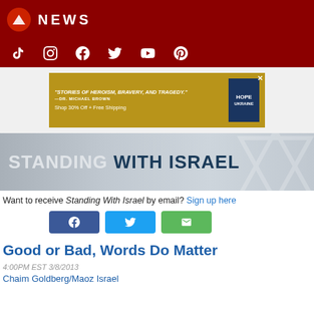NEWS
[Figure (screenshot): Social media icons: TikTok, Instagram, Facebook, Twitter, YouTube, Pinterest on dark red background]
[Figure (infographic): Advertisement banner: "STORIES OF HEROISM, BRAVERY, AND TRAGEDY." —DR. MICHAEL BROWN. Shop 30% Off + Free Shipping. Shows book cover for HOPE UKRAINE.]
[Figure (infographic): Standing With Israel banner with Star of David watermark on grey gradient background]
Want to receive Standing With Israel by email? Sign up here
[Figure (infographic): Share buttons: Facebook (blue), Twitter (light blue), Email (green)]
Good or Bad, Words Do Matter
4:00PM EST 3/8/2013
Chaim Goldberg/Maoz Israel